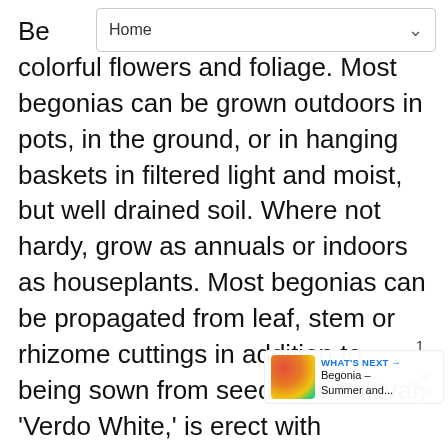[Figure (screenshot): Browser navigation bar overlay showing 'Home' with a dropdown chevron]
Be[...] eir colorful flowers and foliage. Most begonias can be grown outdoors in pots, in the ground, or in hanging baskets in filtered light and moist, but well drained soil. Where not hardy, grow as annuals or indoors as houseplants. Most begonias can be propagated from leaf, stem or rhizome cuttings in addition to being sown from seed. The cultivar, 'Verdo White,' is erect with succulent stems. The many everblooming flowers are single and white in color. The green leaves are shiny, smooth and ovate. This plant can tolerate full sun. Soil should ideally be moist. Begonias grow very well in pots; compost also. Likes humidity. Does not like cold weather. Pinching tips and pruning outer
[Figure (screenshot): Heart/favorite button (teal circle with heart icon) with count of 1, and a share button below it]
[Figure (screenshot): WHAT'S NEXT banner showing a flower image and text 'Begonia – Summer and...']